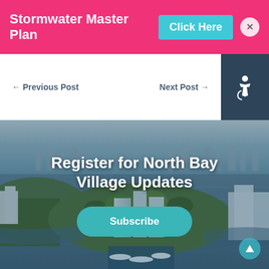Stormwater Master Plan  Click Here  ×
← Previous Post
Next Post →
[Figure (photo): Aerial photograph of North Bay Village, Miami, showing an island community surrounded by Biscayne Bay with the Miami skyline in the background. A marina with boats is visible in the foreground.]
Register for North Bay Village Updates
Subscribe